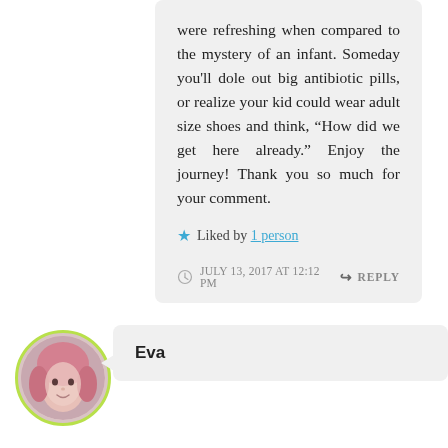were refreshing when compared to the mystery of an infant. Someday you'll dole out big antibiotic pills, or realize your kid could wear adult size shoes and think, “How did we get here already.” Enjoy the journey! Thank you so much for your comment.
Liked by 1 person
JULY 13, 2017 AT 12:12 PM
REPLY
[Figure (photo): Circular avatar photo of a person (Eva) with pink-tinted hair, bordered by a yellow-green circle]
Eva